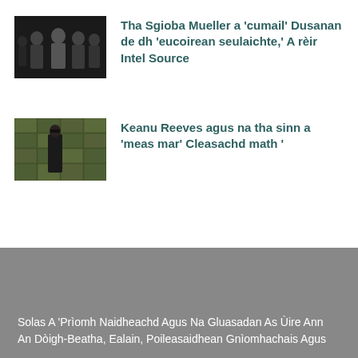[Figure (photo): Photo of Robert Mueller and associates walking]
Tha Sgioba Mueller a 'cumail' Dusanan de dh 'eucoirean seulaichte,' A rèir Intel Source
[Figure (photo): Movie still from The Matrix featuring Keanu Reeves in front of dollar bills]
Keanu Reeves agus na tha sinn a 'meas mar' Cleasachd math '
Solas A 'Prìomh Naidheachd Agus Na Gluasadan As Ùire Ann An Dòigh-Beatha, Ealain, Poileasaidhean Gnìomhachais Agus